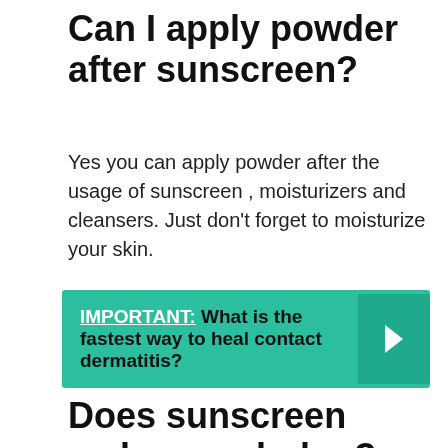Can I apply powder after sunscreen?
Yes you can apply powder after the usage of sunscreen , moisturizers and cleansers. Just don’t forget to moisturize your skin.
[Figure (infographic): Teal/green callout box with bold text: IMPORTANT: What is the fastest way to heal contact dermatitis? with a right-arrow chevron on the right side.]
Does sunscreen make you darker?
If the sunscreen you wear stresses your skin (some chemical sunscreens can do this), it may cause skin darkening. Secondly, if you use sunscreen that has hormonally active (cut off)